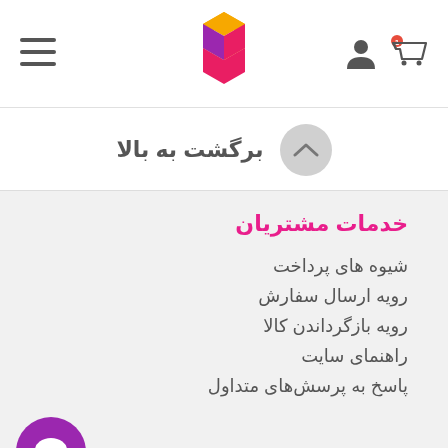[Figure (logo): Takhfifan logo - orange and pink/magenta geometric T shape]
[Figure (illustration): Shopping cart icon with red badge indicator and user account icon]
[Figure (illustration): Hamburger menu icon (three horizontal lines)]
برگشت به بالا
خدمات مشتریان
شیوه های پرداخت
رویه ارسال سفارش
رویه بازگرداندن کالا
راهنمای سایت
پاسخ به پرسش‌های متداول
با ت